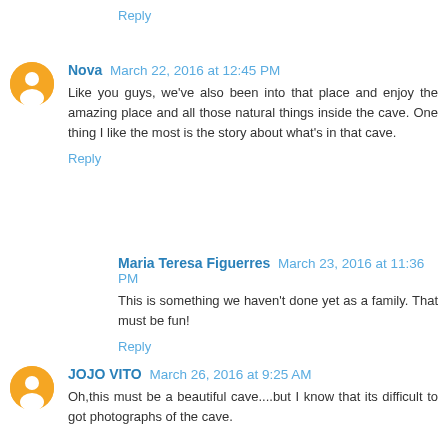Reply
Nova  March 22, 2016 at 12:45 PM
Like you guys, we've also been into that place and enjoy the amazing place and all those natural things inside the cave. One thing I like the most is the story about what's in that cave.
Reply
Maria Teresa Figuerres  March 23, 2016 at 11:36 PM
This is something we haven't done yet as a family. That must be fun!
Reply
JOJO VITO  March 26, 2016 at 9:25 AM
Oh,this must be a beautiful cave....but I know that its difficult to got photographs of the cave.